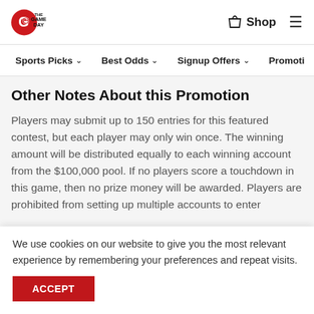THE GAME DAY — Shop
Sports Picks  Best Odds  Signup Offers  Promoti…
Other Notes About this Promotion
Players may submit up to 150 entries for this featured contest, but each player may only win once. The winning amount will be distributed equally to each winning account from the $100,000 pool. If no players score a touchdown in this game, then no prize money will be awarded. Players are prohibited from setting up multiple accounts to enter
We use cookies on our website to give you the most relevant experience by remembering your preferences and repeat visits.
ACCEPT